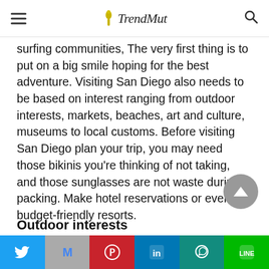TrendMut
surfing communities, The very first thing is to put on a big smile hoping for the best adventure. Visiting San Diego also needs to be based on interest ranging from outdoor interests, markets, beaches, art and culture, museums to local customs. Before visiting San Diego plan your trip, you may need those bikinis you're thinking of not taking, and those sunglasses are not waste during packing. Make hotel reservations or even budget-friendly resorts.
Outdoor interests
[Figure (other): Social share bar with Twitter, Gmail, Pinterest, LinkedIn, WhatsApp, and LINE buttons]